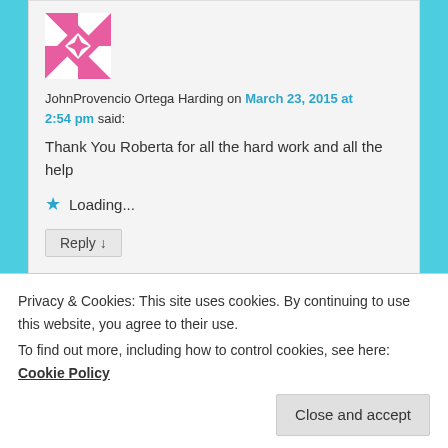[Figure (illustration): Pink and white geometric quilt pattern avatar image]
JohnProvencio Ortega Harding on March 23, 2015 at 2:54 pm said:
Thank You Roberta for all the hard work and all the help
★ Loading...
Reply ↓
Pingback: DNAeXplain Archives – Basic Education Articles | DNAeXplained – Genetic Genealogy
Privacy & Cookies: This site uses cookies. By continuing to use this website, you agree to their use.
To find out more, including how to control cookies, see here: Cookie Policy
Close and accept